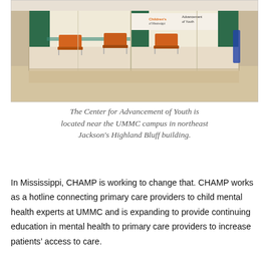[Figure (photo): Interior photo of the Center for Advancement of Youth lobby/waiting area, showing orange chairs, glass walls, and a Children's of Mississippi / Advancement of Youth sign.]
The Center for Advancement of Youth is located near the UMMC campus in northeast Jackson's Highland Bluff building.
In Mississippi, CHAMP is working to change that. CHAMP works as a hotline connecting primary care providers to child mental health experts at UMMC and is expanding to provide continuing education in mental health to primary care providers to increase patients' access to care.